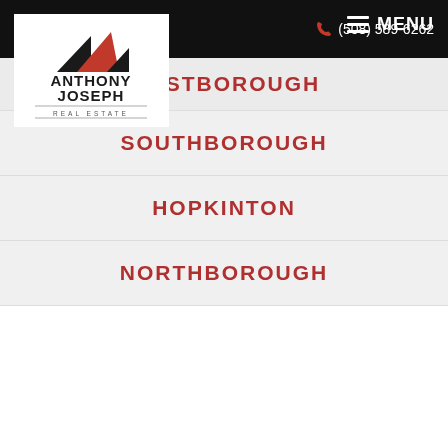Login / Register  (508) 589-6262  MENU
[Figure (logo): Anthony Joseph Real Estate logo with red and black house roof graphic above bold text ANTHONY JOSEPH REAL ESTATE]
WESTBOROUGH
SOUTHBOROUGH
HOPKINTON
NORTHBOROUGH